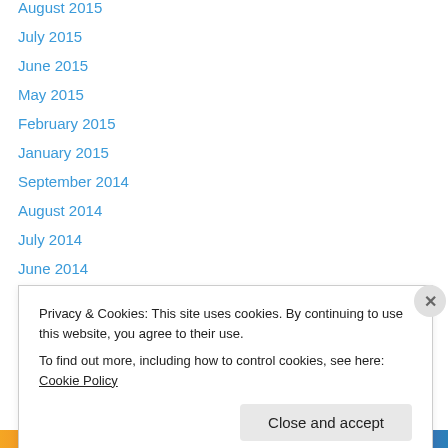August 2015
July 2015
June 2015
May 2015
February 2015
January 2015
September 2014
August 2014
July 2014
June 2014
April 2014
February 2014
January 2014
December 2013
Privacy & Cookies: This site uses cookies. By continuing to use this website, you agree to their use.
To find out more, including how to control cookies, see here: Cookie Policy